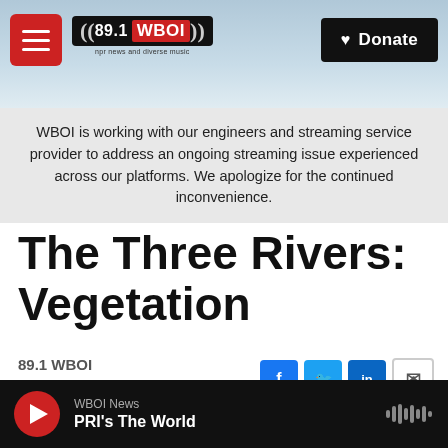89.1 WBOI — npr news and diverse music | Donate
WBOI is working with our engineers and streaming service provider to address an ongoing streaming issue experienced across our platforms. We apologize for the continued inconvenience.
The Three Rivers: Vegetation
89.1 WBOI
Published March 4, 2015 at 6:00 AM EST
WBOI News
PRI's The World